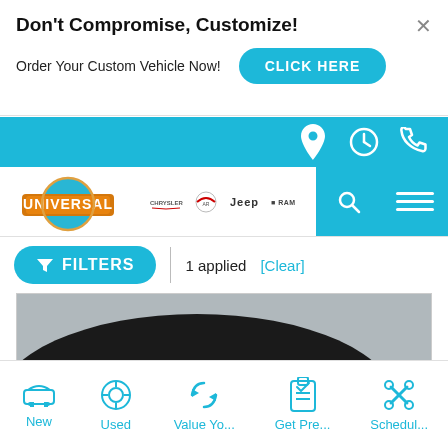Don't Compromise, Customize!
Order Your Custom Vehicle Now!
CLICK HERE
[Figure (screenshot): Blue navigation bar with location, clock, and phone icons on the right]
[Figure (logo): Universal dealership logo with Chrysler, Alfa Romeo, Jeep, and Ram brand logos]
FILTERS | 1 applied [Clear]
[Figure (photo): Close-up photo of the front bumper and wheel of a black luxury car]
New
Used
Value Yo...
Get Pre...
Schedul...